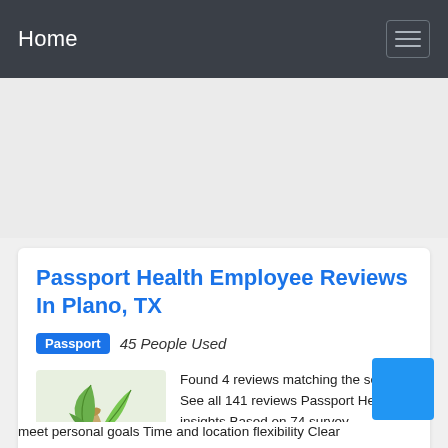Home
Passport Health Employee Reviews In Plano, TX
Passport 45 People Used
Found 4 reviews matching the search See all 141 reviews Passport Health insights Based on 74 survey responses What people like Ability to meet personal goals Time and location flexibility Clear
[Figure (photo): Herb mortar and pestle with green leaves illustration]
meet personal goals Time and location flexibility Clear